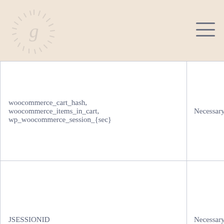[Figure (logo): Circular logo with decorative sunburst/radiating lines pattern and a 'g' lettermark in the center, on a beige/tan background header]
| woocommerce_cart_hash, woocommerce_items_in_cart, wp_woocommerce_session_{sec} | Necessary |
| JSESSIONID | Necessary |